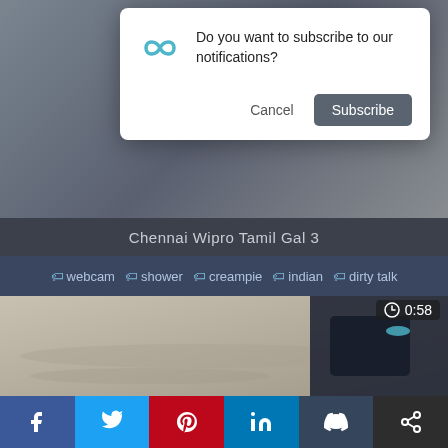[Figure (screenshot): Browser notification permission dialog with infinity/loop icon, text 'Do you want to subscribe to our notifications?', Cancel and Subscribe buttons]
Chennai Wipro Tamil Gal 3
#webcam #shower #creampie #indian #dirty talk
[Figure (screenshot): Video thumbnail showing a beach scene with a person lying on sand, duration badge showing 0:58]
f  t  P  in  t  (share icon)